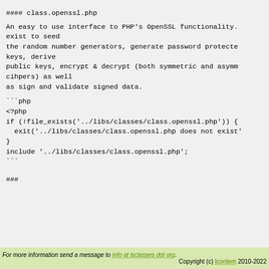#### class.openssl.php
An easy to use interface to PHP's OpenSSL functionality. exist to seed
the random number generators, generate password protected keys, derive
public keys, encrypt & decrypt (both symmetric and asymm cihpers) as well
as sign and validate signed data.
```php
<?php
if (!file_exists('../libs/classes/class.openssl.php')) {
  exit('../libs/classes/class.openssl.php does not exist'
}
include '../libs/classes/class.openssl.php';
```
###
For more information send a message to info at jsclasses dot org.
Copyright (c) Icontem 2010-2022